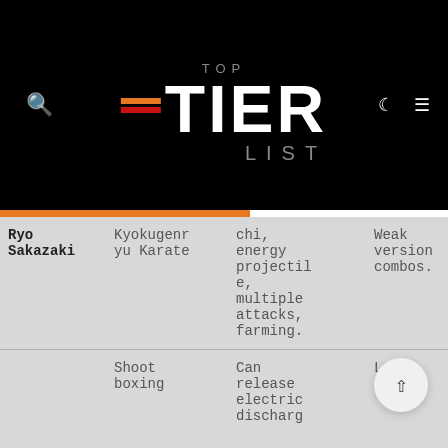TOP TIER LIST
| Name | Style | Strengths | Weaknesses |
| --- | --- | --- | --- |
| Ryo Sakazaki | Kyokugenryu Karate | chi, energy projectile, multiple attacks, farming. | Weak version combos. |
|  | Shoot boxing | Can release electric discharge | Lack long- |